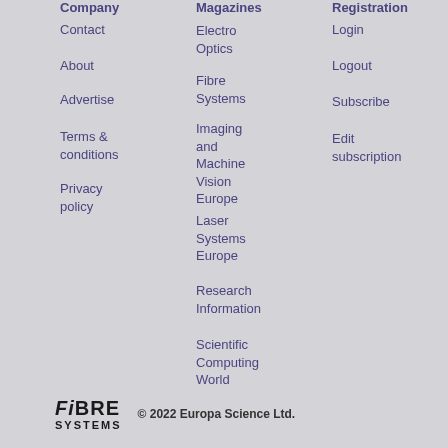Company
Contact
About
Advertise
Terms & conditions
Privacy policy
Magazines
Electro Optics
Fibre Systems
Imaging and Machine Vision Europe
Laser Systems Europe
Research Information
Scientific Computing World
Registration
Login
Logout
Subscribe
Edit subscription
© 2022 Europa Science Ltd.